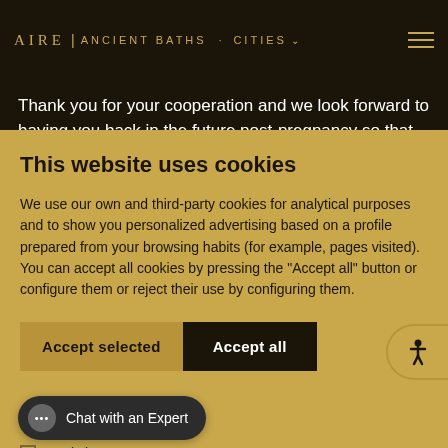AIRE | ANCIENT BATHS · CITIES
Thank you for your cooperation and we look forward to having you back in the future post-pregnancy so that you can enjoy a great
This website uses cookies
We use our own and third-party cookies for analytical purposes and to show you personalized advertising based on a profile prepared from your browsing habits (for example, pages visited). You can accept all cookies by pressing the "Accept all" button or configure them or reject their use by configuring them.
Accept selected | Accept all
Chat with an Expert
Statistics